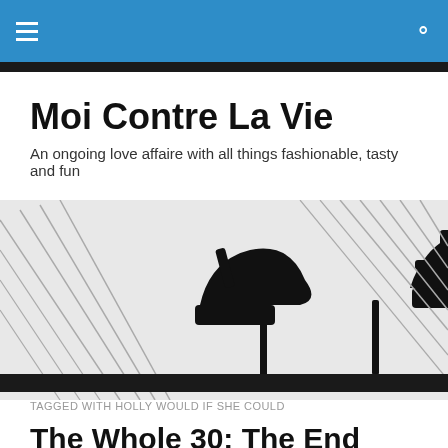Navigation bar with hamburger menu and search icon
Moi Contre La Vie
An ongoing love affaire with all things fashionable, tasty and fun
[Figure (illustration): Black and white illustration of two high-heeled stiletto shoes on what appears to be a staircase railing with a dark bar at the bottom]
TAGGED WITH HOLLY WOULD IF SHE COULD
The Whole 30: The End
This week I said adieu to The Whole 30 after four long weeks of clean, healthy eating. While I did a "lite" version